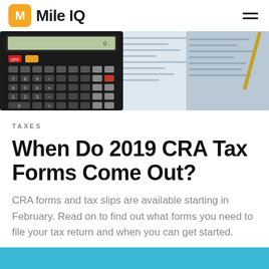Mile IQ
[Figure (photo): Photo of a scientific calculator placed on top of Canadian tax forms/documents]
TAXES
When Do 2019 CRA Tax Forms Come Out?
CRA forms and tax slips are available starting in February. Read on to find out what forms you need to file your tax return and when you can get started.